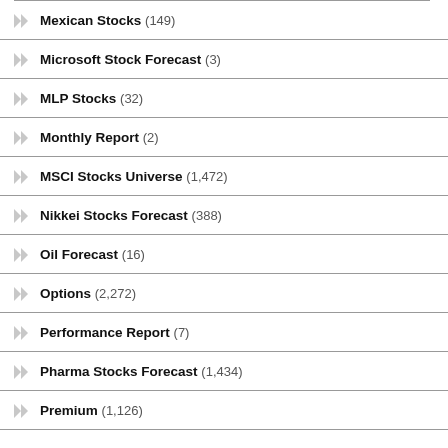Mexican Stocks (149)
Microsoft Stock Forecast (3)
MLP Stocks (32)
Monthly Report (2)
MSCI Stocks Universe (1,472)
Nikkei Stocks Forecast (388)
Oil Forecast (16)
Options (2,272)
Performance Report (7)
Pharma Stocks Forecast (1,434)
Premium (1,126)